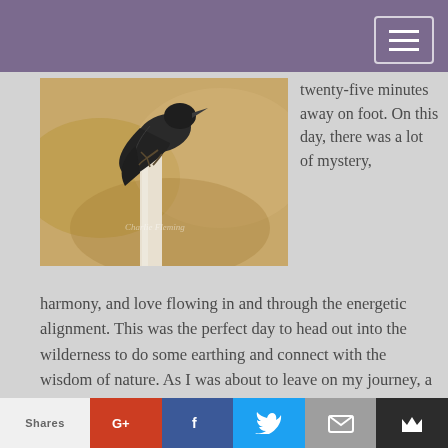[Figure (photo): A dark bird (kingfisher or similar) perched on a weathered white post, wings slightly spread, against a warm blurred golden-brown background. Watermark text visible: 'Charlie Fleming']
twenty-five minutes away on foot. On this day, there was a lot of mystery, harmony, and love flowing in and through the energetic alignment. This was the perfect day to head out into the wilderness to do some earthing and connect with the wisdom of nature. As I was about to leave on my journey, a friend called one who I had not spoken to in a long time. I decided to take the call since I had a twenty-five minute walk to my destination. Out the door and on my journey I went.
After walking for about five minutes and turning my first corner, I could feel the swirl of beautiful mystical
Shares  G+  f  [Twitter]  [Mail]  [Crown]